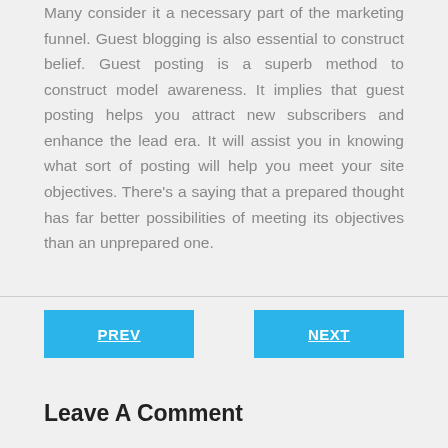Many consider it a necessary part of the marketing funnel. Guest blogging is also essential to construct belief. Guest posting is a superb method to construct model awareness. It implies that guest posting helps you attract new subscribers and enhance the lead era. It will assist you in knowing what sort of posting will help you meet your site objectives. There's a saying that a prepared thought has far better possibilities of meeting its objectives than an unprepared one.
PREV
NEXT
Leave A Comment